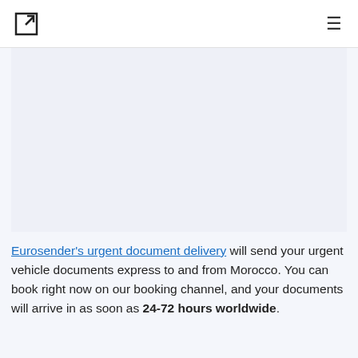[Logo icon] [Hamburger menu]
[Figure (photo): Light blue-gray rectangular image placeholder area]
Eurosender's urgent document delivery will send your urgent vehicle documents express to and from Morocco. You can book right now on our booking channel, and your documents will arrive in as soon as 24-72 hours worldwide.